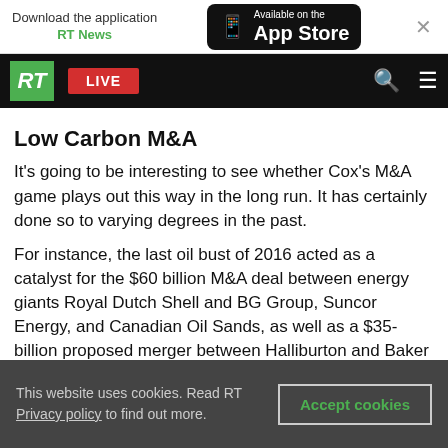[Figure (screenshot): App download banner with 'Download the application RT News' text and 'Available on the App Store' button with phone icon, and a close X button]
[Figure (screenshot): RT website navigation bar with green RT logo, red LIVE button, search icon, and hamburger menu icon on black background]
Low Carbon M&A
It's going to be interesting to see whether Cox's M&A game plays out this way in the long run. It has certainly done so to varying degrees in the past.
For instance, the last oil bust of 2016 acted as a catalyst for the $60 billion M&A deal between energy giants Royal Dutch Shell and BG Group, Suncor Energy, and Canadian Oil Sands, as well as a $35-billion proposed merger between Halliburton and Baker Hughes that eventually fell
This website uses cookies. Read RT Privacy policy to find out more.